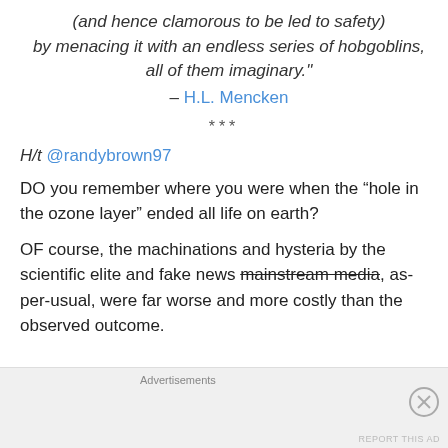(and hence clamorous to be led to safety) by menacing it with an endless series of hobgoblins, all of them imaginary." – H.L. Mencken
***
H/t @randybrown97
DO you remember where you were when the “hole in the ozone layer” ended all life on earth?
OF course, the machinations and hysteria by the scientific elite and fake news mainstream media, as-per-usual, were far worse and more costly than the observed outcome.
Advertisements